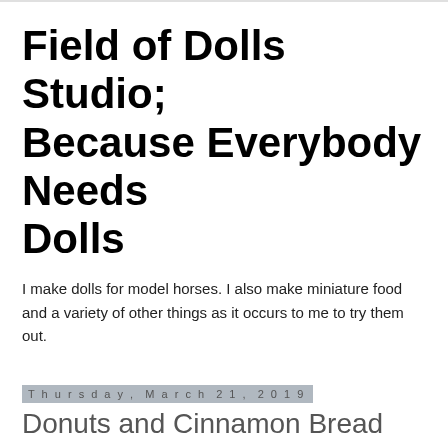Field of Dolls Studio; Because Everybody Needs Dolls
I make dolls for model horses. I also make miniature food and a variety of other things as it occurs to me to try them out.
Thursday, March 21, 2019
Donuts and Cinnamon Bread
The other day I tried a couple new low carb recipes. One of them was a cinnamon swirl bread. I am not sure if I missed an ingredient, though I did double check everything as I worked, or if something was missing from the printed recipe. Or should have been added. The instructions said to pour half the batter into the bread pan and then put on the